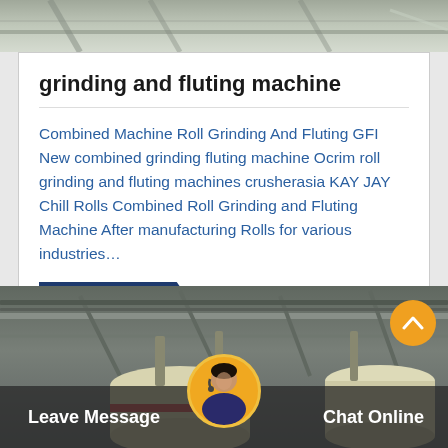[Figure (photo): Industrial machinery ceiling/roof structure photo strip at top]
grinding and fluting machine
Combined Machine Roll Grinding And Fluting GFI New combined grinding fluting machine Ocrim roll grinding and fluting machines crusherasia KAY JAY Chill Rolls Combined Roll Grinding and Fluting Machine After manufacturing Rolls for various industries…
Get Price >
[Figure (photo): Industrial machinery/mill equipment inside a factory, with large cylindrical containers and steel roof structure]
Leave Message
Chat Online